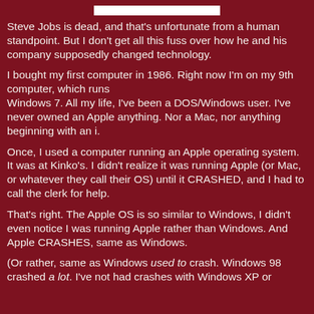Steve Jobs is dead, and that's unfortunate from a human standpoint. But I don't get all this fuss over how he and his company supposedly changed technology.
I bought my first computer in 1986. Right now I'm on my 9th computer, which runs Windows 7. All my life, I've been a DOS/Windows user. I've never owned an Apple anything. Nor a Mac, nor anything beginning with an i.
Once, I used a computer running an Apple operating system. It was at Kinko's. I didn't realize it was running Apple (or Mac, or whatever they call their OS) until it CRASHED, and I had to call the clerk for help.
That's right. The Apple OS is so similar to Windows, I didn't even notice I was running Apple rather than Windows. And Apple CRASHES, same as Windows.
(Or rather, same as Windows used to crash. Windows 98 crashed a lot. I've not had crashes with Windows XP or